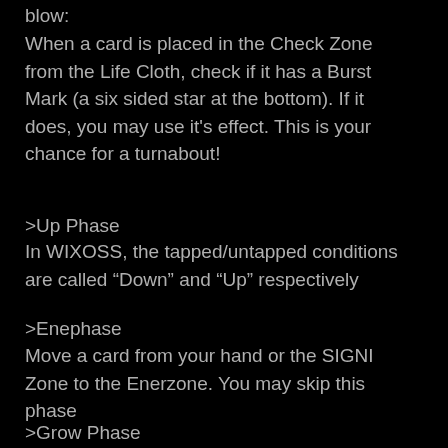blow:
When a card is placed in the Check Zone from the Life Cloth, check if it has a Burst Mark (a six sided star at the bottom). If it does, you may use it's effect. This is your chance for a turnabout!
>Up Phase
In WIXOSS, the tapped/untapped conditions are called “Down” and “Up” respectively
>Enephase
Move a card from your hand or the SIGNI Zone to the Enerzone. You may skip this phase
>Grow Phase
This Phase is unique to WIXOSS!